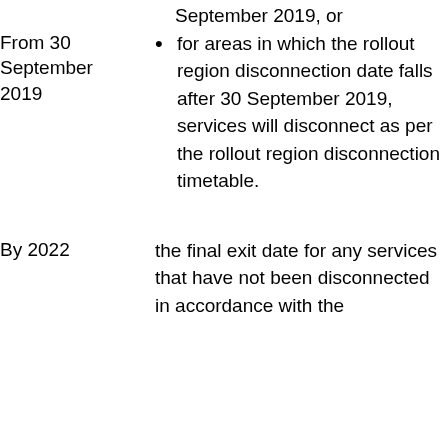September 2019, or
From 30 September 2019
for areas in which the rollout region disconnection date falls after 30 September 2019, services will disconnect as per the rollout region disconnection timetable.
By 2022
the final exit date for any services that have not been disconnected in accordance with the